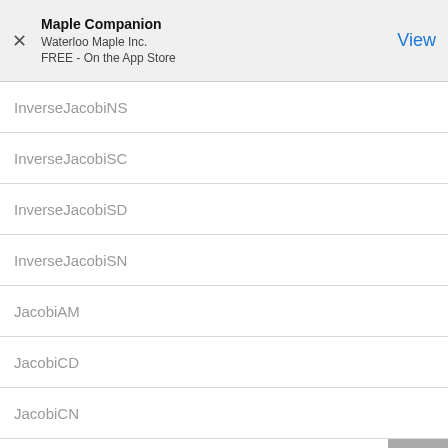Maple Companion
Waterloo Maple Inc.
FREE - On the App Store
InverseJacobiNS
InverseJacobiSC
InverseJacobiSD
InverseJacobiSN
JacobiAM
JacobiCD
JacobiCN
JacobiCS
JacobiDC